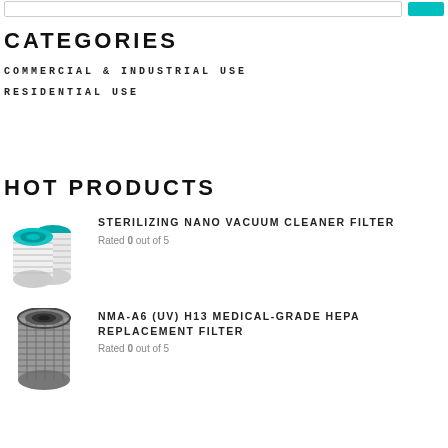[Figure (screenshot): Search bar with teal/cyan search button at top of page]
CATEGORIES
COMMERCIAL & INDUSTRIAL USE
RESIDENTIAL USE
HOT PRODUCTS
[Figure (photo): Sterilizing nano vacuum cleaner filter product image - two cylindrical green and white HEPA filters]
STERILIZING NANO VACUUM CLEANER FILTER
Rated 0 out of 5
[Figure (photo): NMA-A6 (UV) H13 Medical-Grade HEPA Replacement Filter product image - cylindrical grey HEPA filter]
NMA-A6 (UV) H13 MEDICAL-GRADE HEPA REPLACEMENT FILTER
Rated 0 out of 5